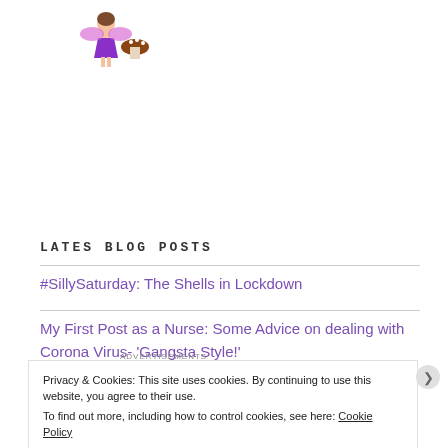[Figure (illustration): Pixel art fairy/character illustration in purple dress with mushroom, positioned top left]
LATES BLOG POSTS
#SillySaturday: The Shells in Lockdown
My First Post as a Nurse: Some Advice on dealing with Corona Virus- 'Gangsta Style!'
Privacy & Cookies: This site uses cookies. By continuing to use this website, you agree to their use.
To find out more, including how to control cookies, see here: Cookie Policy
[Figure (advertisement): Dark blue ad banner: Create surveys, polls, quizzes, and forms. WordPress and Crown logos.]